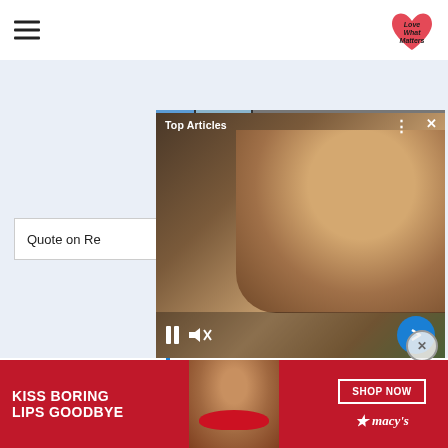[Figure (screenshot): Website header with hamburger menu icon on left and 'Love What Matters' heart logo on right]
[Figure (screenshot): Video overlay panel showing 'Top Articles' label with woman smiling holding item, pause/mute controls, blue arrow button, and X close button]
Quote on Re
[Figure (screenshot): Advertisement banner: red background with 'KISS BORING LIPS GOODBYE' text on left, woman's face with red lips in center, 'SHOP NOW' button and Macy's star logo on right]